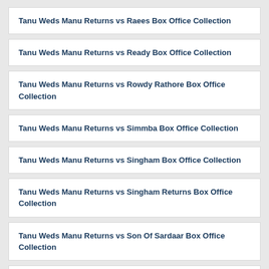Tanu Weds Manu Returns vs Raees Box Office Collection
Tanu Weds Manu Returns vs Ready Box Office Collection
Tanu Weds Manu Returns vs Rowdy Rathore Box Office Collection
Tanu Weds Manu Returns vs Simmba Box Office Collection
Tanu Weds Manu Returns vs Singham Box Office Collection
Tanu Weds Manu Returns vs Singham Returns Box Office Collection
Tanu Weds Manu Returns vs Son Of Sardaar Box Office Collection
Tanu Weds Manu Returns vs Stree Box Office Collection
Tanu Weds Manu Returns vs URI The Surgical Strike Box Office Collection